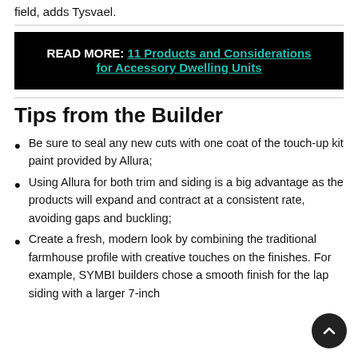field, adds Tysvael.
READ MORE: 11 Products and Considerations for Accessory Dwelling Units
Tips from the Builder
Be sure to seal any new cuts with one coat of the touch-up kit paint provided by Allura;
Using Allura for both trim and siding is a big advantage as the products will expand and contract at a consistent rate, avoiding gaps and buckling;
Create a fresh, modern look by combining the traditional farmhouse profile with creative touches on the finishes. For example, SYMBI builders chose a smooth finish for the lap siding with a larger 7-inch